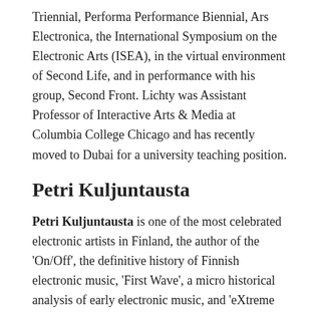Triennial, Performa Performance Biennial, Ars Electronica, the International Symposium on the Electronic Arts (ISEA), in the virtual environment of Second Life, and in performance with his group, Second Front. Lichty was Assistant Professor of Interactive Arts & Media at Columbia College Chicago and has recently moved to Dubai for a university teaching position.
Petri Kuljuntausta
Petri Kuljuntausta is one of the most celebrated electronic artists in Finland, the author of the 'On/Off', the definitive history of Finnish electronic music, 'First Wave', a micro historical analysis of early electronic music, and 'eXtreme Sound', a review of the whole experimental scene and on his own approach to music. Kuljuntausta has performed or collaborated with Morton Subotnick, Atau Tanaka, Richard Lerman, David Rothenberg, and Sami van Ingen. He has made recordings for various labels in Australia, England, Finland, France, Germany, India, Sweden and the USA. In 2004 Star's End and Inner Space radio shows